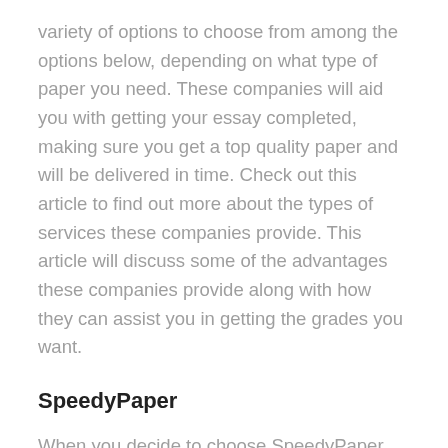variety of options to choose from among the options below, depending on what type of paper you need. These companies will aid you with getting your essay completed, making sure you get a top quality paper and will be delivered in time. Check out this article to find out more about the types of services these companies provide. This article will discuss some of the advantages these companies provide along with how they can assist you in getting the grades you want.
SpeedyPaper
When you decide to choose SpeedyPaper for your college essay writing service, you'll have the choice of selecting among a paper writing service wide range of topics. It has